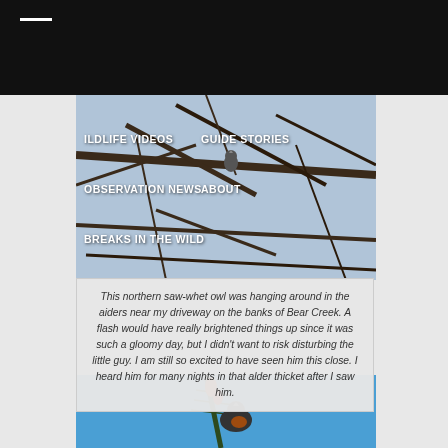[Figure (photo): Navigation header area with dark top bar and hamburger menu icon]
[Figure (photo): Northern saw-whet owl perched in alder branches against blue-grey sky, with navigation menu links overlaid: WILDLIFE VIDEOS, GUIDE STORIES, OBSERVATION NEWS, ABOUT, BREAKS IN THE WILD]
This northern saw-whet owl was hanging around in the aiders near my driveway on the banks of Bear Creek. A flash would have really brightened things up since it was such a gloomy day, but I didn't want to risk disturbing the little guy. I am still so excited to have seen him this close. I heard him for many nights in that alder thicket after I saw him.
[Figure (photo): Bird perched on a conifer branch with orange-red flowers/cones against a bright blue sky]